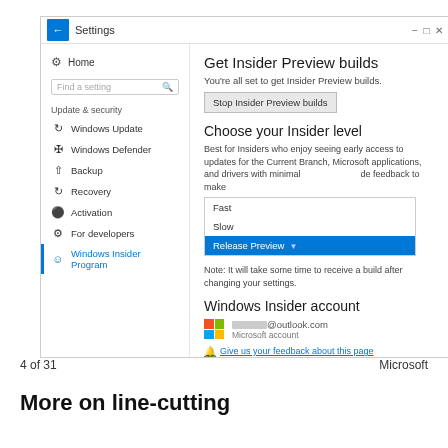[Figure (screenshot): Windows 10 Settings screenshot showing Windows Insider Program page with Get Insider Preview builds section, Choose your Insider level with a dropdown showing Fast, Slow, Release Preview options (Release Preview selected/highlighted in blue), Windows Insider account section with Microsoft account email and Give us your feedback about this page link.]
4 of 31                                                             Microsoft
More on line-cutting